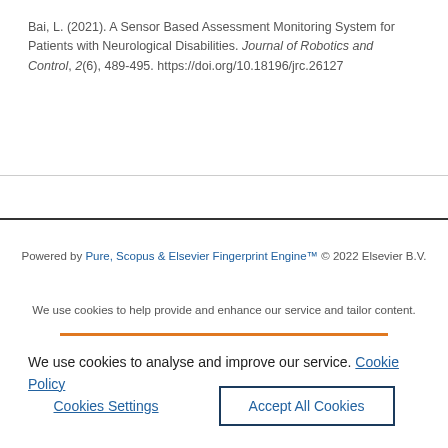Bai, L. (2021). A Sensor Based Assessment Monitoring System for Patients with Neurological Disabilities. Journal of Robotics and Control, 2(6), 489-495. https://doi.org/10.18196/jrc.26127
Powered by Pure, Scopus & Elsevier Fingerprint Engine™ © 2022 Elsevier B.V.
We use cookies to help provide and enhance our service and tailor content.
We use cookies to analyse and improve our service. Cookie Policy
Cookies Settings
Accept All Cookies